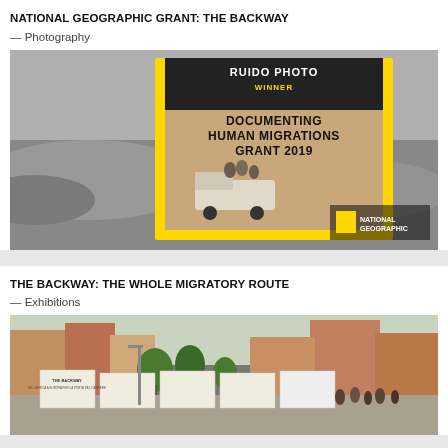NATIONAL GEOGRAPHIC GRANT: THE BACKWAY
— Photography
[Figure (photo): National Geographic Ruido Photo Winner award graphic for Documenting Human Migrations Grant 2019, showing migrants riding in the back of a pickup truck through a desert landscape, with yellow National Geographic border frame]
THE BACKWAY: THE WHOLE MIGRATORY ROUTE
— Exhibitions
[Figure (photo): Outdoor street exhibition of The Backway photo project showing large format prints mounted on stands along a city sidewalk with apartment buildings in background and visitors viewing the exhibition]